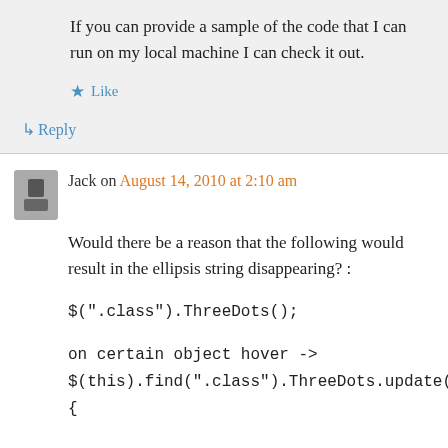If you can provide a sample of the code that I can run on my local machine I can check it out.
★ Like
↳ Reply
Jack on August 14, 2010 at 2:10 am
Would there be a reason that the following would result in the ellipsis string disappearing? :
$(".class").ThreeDots();
on certain object hover -> $(this).find(".class").ThreeDots.update( {